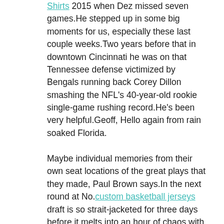Shirts 2015 when Dez missed seven games.He stepped up in some big moments for us, especially these last couple weeks.Two years before that in downtown Cincinnati he was on that Tennessee defense victimized by Bengals running back Corey Dillon smashing the NFL's 40-year-old rookie single-game rushing record.He's been very helpful.Geoff, Hello again from rain soaked Florida.
Maybe individual memories from their own seat locations of the great plays that they made, Paul Brown says.In the next round at No.custom basketball jerseys draft is so strait-jacketed for three days before it melts into an hour of chaos with free agency, but Caskey already had a relationship with Flowers and Hiller and the thing was done fairly quickly.